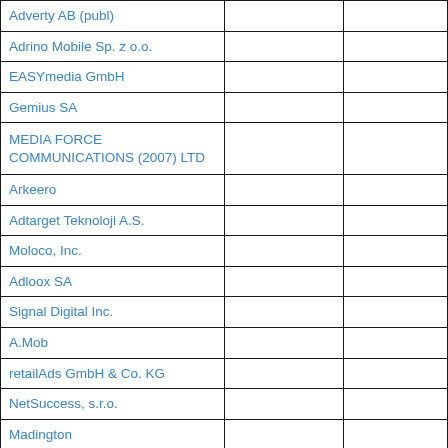|  |  |  |
| --- | --- | --- |
| Adverty AB (publ) |  |  |
| Adrino Mobile Sp. z o.o. |  |  |
| EASYmedia GmbH |  |  |
| Gemius SA |  |  |
| MEDIA FORCE COMMUNICATIONS (2007) LTD |  |  |
| Arkeero |  |  |
| Adtarget Teknoloji A.S. |  |  |
| Moloco, Inc. |  |  |
| Adloox SA |  |  |
| Signal Digital Inc. |  |  |
| A.Mob |  |  |
| retailAds GmbH & Co. KG |  |  |
| NetSuccess, s.r.o. |  |  |
| Madington |  |  |
| Turk Telekom |  |  |
| Marfeel Solutions, SL (Compass) |  |  |
| Lifesight Pte. Ltd. |  |  |
| ORANGE CLICK MEDIA & COMMERCE LTD |  |  |
| Rockerbox, Inc. |  |  |